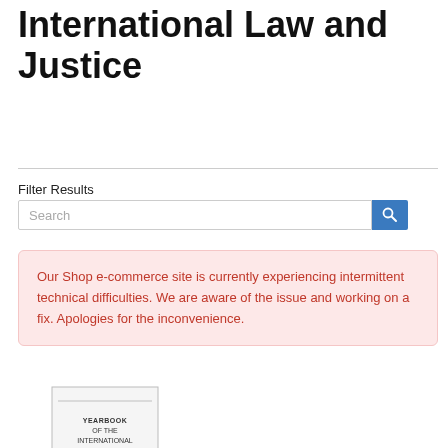International Law and Justice
Filter Results
Search
Our Shop e-commerce site is currently experiencing intermittent technical difficulties. We are aware of the issue and working on a fix. Apologies for the inconvenience.
[Figure (illustration): Book cover: Yearbook of the International Law Commission 2005]